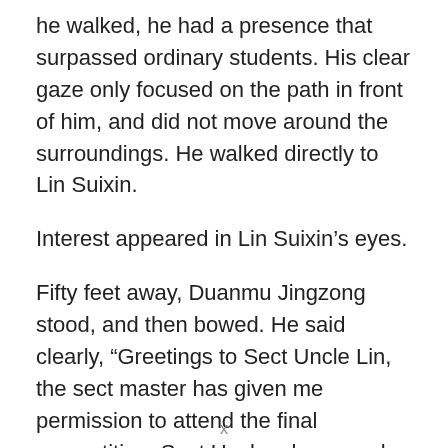he walked, he had a presence that surpassed ordinary students. His clear gaze only focused on the path in front of him, and did not move around the surroundings. He walked directly to Lin Suixin.
Interest appeared in Lin Suixin’s eyes.
Fifty feet away, Duanmu Jingzong stood, and then bowed. He said clearly, “Greetings to Sect Uncle Lin, the sect master has given me permission to attend the final competition. Sect Uncle, please make arrangements.”
x